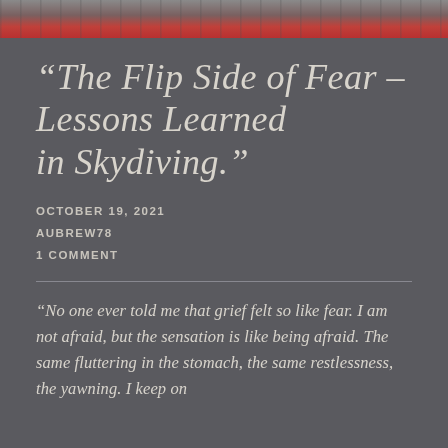[Figure (photo): Top strip of a photograph showing a person in a red shirt, partially cropped]
“The Flip Side of Fear – Lessons Learned in Skydiving.”
OCTOBER 19, 2021
AUBREW78
1 COMMENT
“No one ever told me that grief felt so like fear. I am not afraid, but the sensation is like being afraid. The same fluttering in the stomach, the same restlessness, the yawning. I keep on